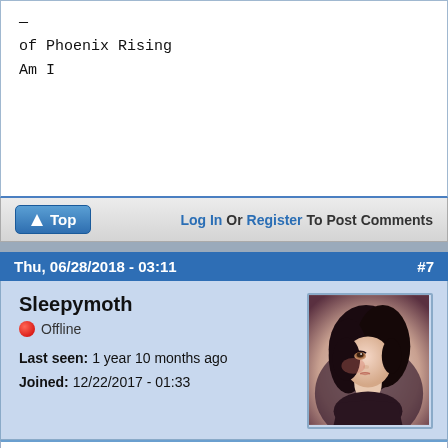—
of Phoenix Rising
Am I
↑ Top   Log In Or Register To Post Comments
Thu, 06/28/2018 - 03:11   #7
Sleepymoth
🔴 Offline
Last seen: 1 year 10 months ago
Joined: 12/22/2017 - 01:33
[Figure (illustration): User avatar illustration of a woman with dark hair looking upward, artistic style with warm tones]
Roleplayers already have one. I am in it right now.